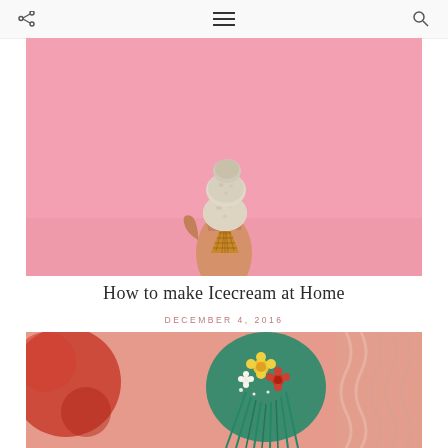[Figure (photo): A hand holding an ice cream cone with two scoops against a pink background]
How to make Icecream at Home
DECEMBER 4, 2016
[Figure (photo): Close-up of colorful knitted/crocheted accessories with tassels, pink knit background with red and green floral pompoms]